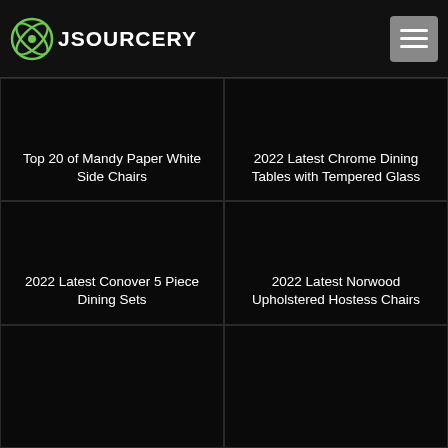JSOURCERY
[Figure (other): Dark image card showing Top 20 of Mandy Paper White Side Chairs]
Top 20 of Mandy Paper White Side Chairs
[Figure (other): Dark image card showing 2022 Latest Chrome Dining Tables with Tempered Glass]
2022 Latest Chrome Dining Tables with Tempered Glass
[Figure (other): Dark image card showing 2022 Latest Conover 5 Piece Dining Sets]
2022 Latest Conover 5 Piece Dining Sets
[Figure (other): Dark image card showing 2022 Latest Norwood Upholstered Hostess Chairs]
2022 Latest Norwood Upholstered Hostess Chairs
[Figure (other): Dark image card (bottom left, partially visible)]
[Figure (other): Dark image card (bottom right, partially visible)]